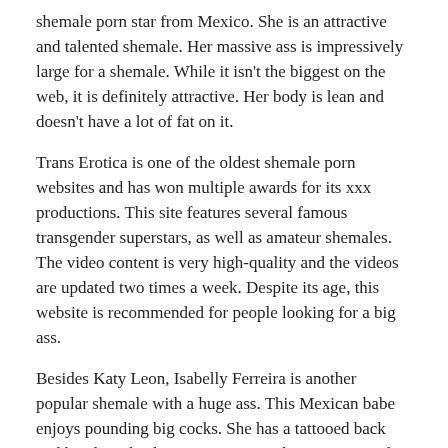shemale porn star from Mexico. She is an attractive and talented shemale. Her massive ass is impressively large for a shemale. While it isn't the biggest on the web, it is definitely attractive. Her body is lean and doesn't have a lot of fat on it.
Trans Erotica is one of the oldest shemale porn websites and has won multiple awards for its xxx productions. This site features several famous transgender superstars, as well as amateur shemales. The video content is very high-quality and the videos are updated two times a week. Despite its age, this website is recommended for people looking for a big ass.
Besides Katy Leon, Isabelly Ferreira is another popular shemale with a huge ass. This Mexican babe enjoys pounding big cocks. She has a tattooed back and hands and is known as Foxxy. She is very popular and has many videos available online. The site has over six thousand videos and hundreds of thousands of pictures. She is 157 cm tall.
To...